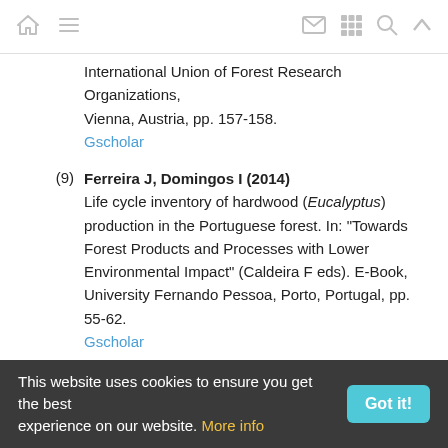Navigation bar with home, menu, mail, grid, search, and up icons
International Union of Forest Research Organizations, Vienna, Austria, pp. 157-158.
Gscholar
(9) Ferreira J, Domingos I (2014) Life cycle inventory of hardwood (Eucalyptus) production in the Portuguese forest. In: "Towards Forest Products and Processes with Lower Environmental Impact" (Caldeira F eds). E-Book, University Fernando Pessoa, Porto, Portugal, pp. 55-62. Gscholar
(10) Ferreira J, Esteves B, Nunes L, Domingos I (2014a) Life cycle assessment of thermally treated and untreated maritime pine boards: a Portuguese case
This website uses cookies to ensure you get the best experience on our website. More info | Got it!